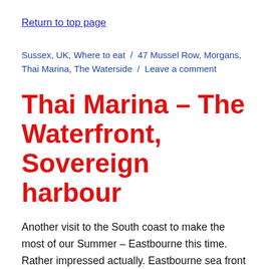Return to top page
Sussex, UK, Where to eat / 47 Mussel Row, Morgans, Thai Marina, The Waterside / Leave a comment
Thai Marina – The Waterfront, Sovereign harbour
Another visit to the South coast to make the most of our Summer – Eastbourne this time.  Rather impressed actually. Eastbourne sea front is like a better kept Brighton. A short drive or a two miles